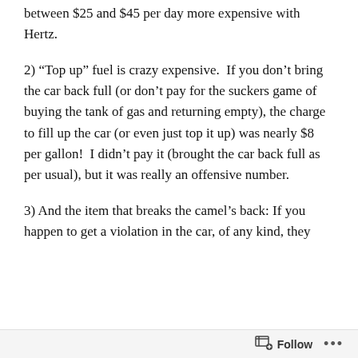between $25 and $45 per day more expensive with Hertz.
2) “Top up” fuel is crazy expensive. If you don’t bring the car back full (or don’t pay for the suckers game of buying the tank of gas and returning empty), the charge to fill up the car (or even just top it up) was nearly $8 per gallon! I didn’t pay it (brought the car back full as per usual), but it was really an offensive number.
3) And the item that breaks the camel’s back: If you happen to get a violation in the car, of any kind, they will charge you an extra $30! So I got a parking ticket (not unusual in Chicago) and pay it within a day or two of receiving it. More than a month later I get a bill from Hertz saying that since there was a violation, I’m being charged an extra $30. For comparison, I’ve
Follow ...